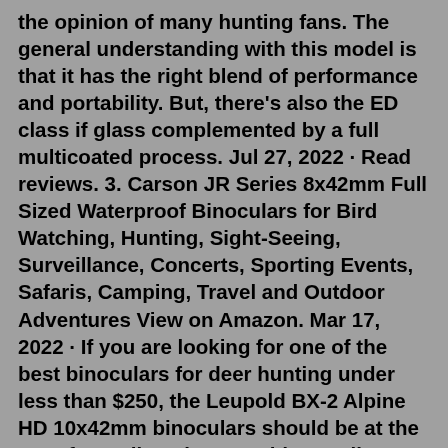the opinion of many hunting fans. The general understanding with this model is that it has the right blend of performance and portability. But, there's also the ED class if glass complemented by a full multicoated process. Jul 27, 2022 · Read reviews. 3. Carson JR Series 8x42mm Full Sized Waterproof Binoculars for Bird Watching, Hunting, Sight-Seeing, Surveillance, Concerts, Sporting Events, Safaris, Camping, Travel and Outdoor Adventures View on Amazon. Mar 17, 2022 · If you are looking for one of the best binoculars for deer hunting under less than $250, the Leupold BX-2 Alpine HD 10x42mm binoculars should be at the top of your list. They provide excellent resolution and viewing angles for capturing animal detail in close-up without distortion. High Definition Binoculars for Bird Watching, Hunting, Stargazing, Traveling & Whale Watching: Adasion 12×42 high powered binoculars provide 12X magnification and 18mm eyepieces, feature a 367/1000yds large field of view, and delivers large and